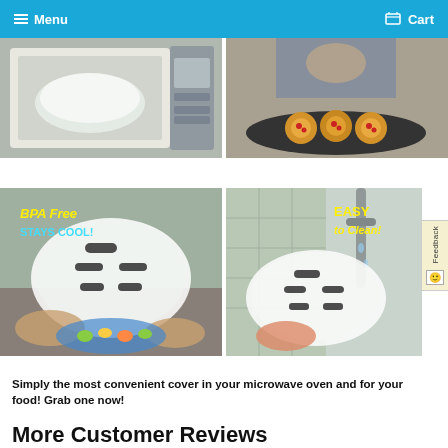Menu  Cart
[Figure (photo): Microwave cover dome lid shown inside a microwave oven]
[Figure (photo): Person presenting a plate of food (mini pizzas or tarts) on a dark plate]
[Figure (photo): Microwave dome cover with text overlay: BPA Free, STAYS COOL! Being placed on a bowl of vegetables]
[Figure (photo): Microwave dome cover being rinsed under running water at a sink with text overlay: EASY to Clean!]
Simply the most convenient cover in your microwave oven and for your food! Grab one now!
More Customer Reviews